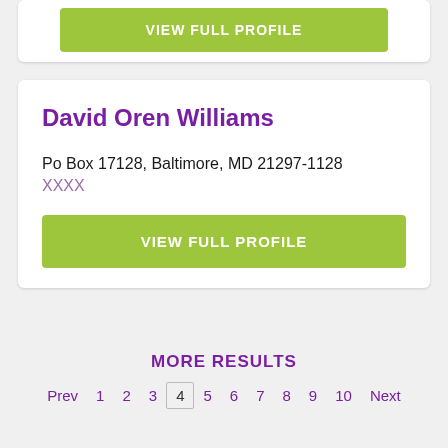VIEW FULL PROFILE
David Oren Williams
Po Box 17128, Baltimore, MD 21297-1128
XXXX
VIEW FULL PROFILE
MORE RESULTS
Prev 1 2 3 4 5 6 7 8 9 10 Next